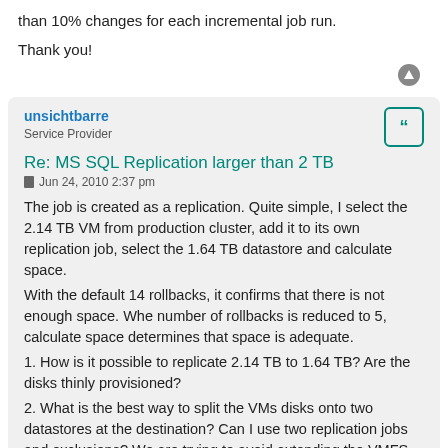than 10% changes for each incremental job run.
Thank you!
unsichtbarre
Service Provider
Re: MS SQL Replication larger than 2 TB
Jun 24, 2010 2:37 pm
The job is created as a replication. Quite simple, I select the 2.14 TB VM from production cluster, add it to its own replication job, select the 1.64 TB datastore and calculate space.
With the default 14 rollbacks, it confirms that there is not enough space. Whe number of rollbacks is reduced to 5, calculate space determines that space is adequate.
1. How is it possible to replicate 2.14 TB to 1.64 TB? Are the disks thinly provisioned?
2. What is the best way to split the VMs disks onto two datastores at the destination? Can I use two replication jobs and exclusions? We are trying to avoid extending the VMFS